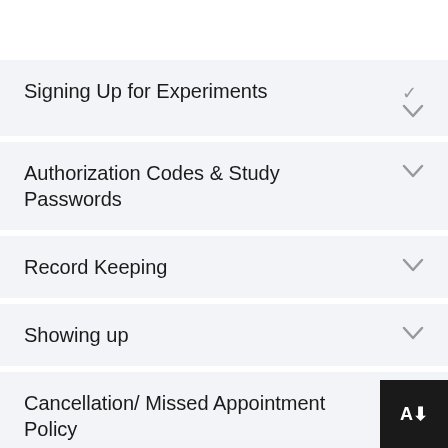Signing Up for Experiments
Authorization Codes & Study Passwords
Record Keeping
Showing up
Cancellation/ Missed Appointment Policy